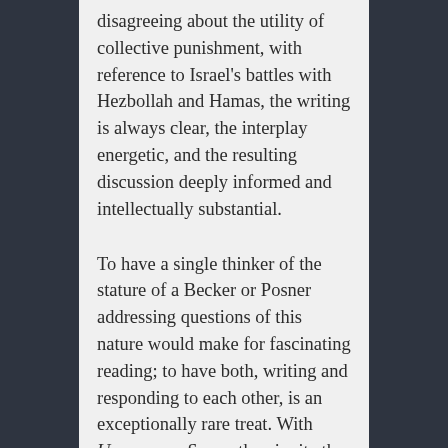disagreeing about the utility of collective punishment, with reference to Israel's battles with Hezbollah and Hamas, the writing is always clear, the interplay energetic, and the resulting discussion deeply informed and intellectually substantial.
To have a single thinker of the stature of a Becker or Posner addressing questions of this nature would make for fascinating reading; to have both, writing and responding to each other, is an exceptionally rare treat. With Uncommon Sense, they invite the adventurous reader to join them on a